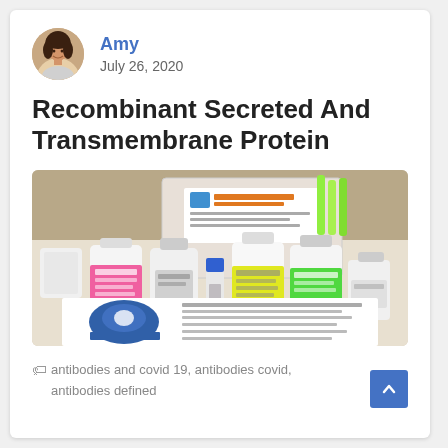Amy — July 26, 2020
Recombinant Secreted And Transmembrane Protein
[Figure (photo): Laboratory reagent bottles with colorful labels (pink, yellow, green) arranged on a table, with a GENTAUR company document visible in the foreground. The kit is labeled Thiero NADP/NADPH.]
antibodies and covid 19, antibodies covid, antibodies defined